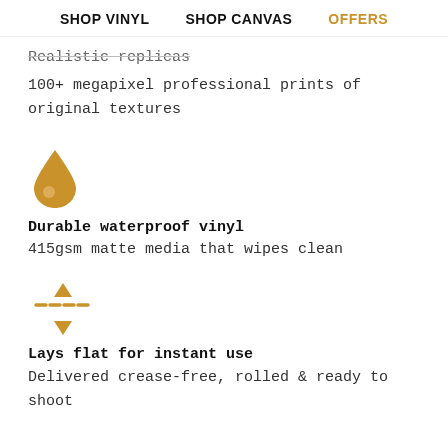SHOP VINYL   SHOP CANVAS   OFFERS
Realistic replicas
100+ megapixel professional prints of original textures
[Figure (illustration): Water drop icon in golden/brown color]
Durable waterproof vinyl
415gsm matte media that wipes clean
[Figure (illustration): Alignment/centering icon with arrows and dashes in golden/brown color]
Lays flat for instant use
Delivered crease-free, rolled & ready to shoot